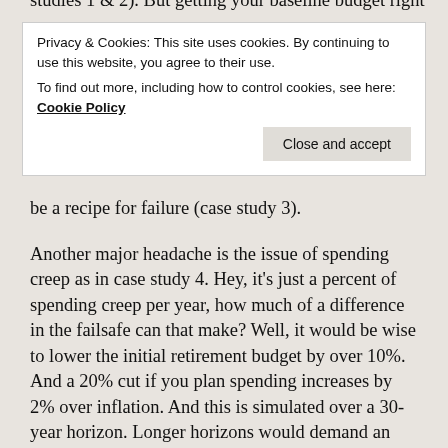studies 1 & 2). But getting your baseline budget right
Privacy & Cookies: This site uses cookies. By continuing to use this website, you agree to their use.
To find out more, including how to control cookies, see here: Cookie Policy
be a recipe for failure (case study 3).
Another major headache is the issue of spending creep as in case study 4. Hey, it’s just a percent of spending creep per year, how much of a difference in the failsafe can that make? Well, it would be wise to lower the initial retirement budget by over 10%. And a 20% cut if you plan spending increases by 2% over inflation. And this is simulated over a 30-year horizon. Longer horizons would demand an even more drastic cut.
Somewhere in between is the nursing home